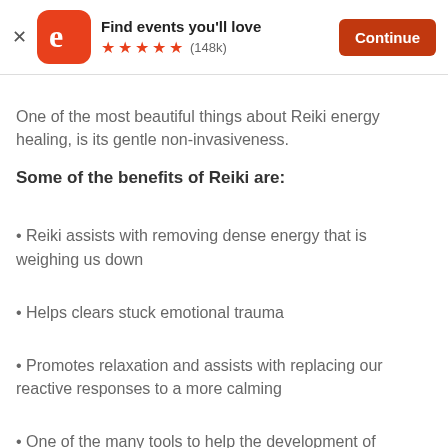[Figure (screenshot): Eventbrite app banner with logo, title 'Find events you'll love', 5-star rating (148k reviews), and Continue button]
One of the most beautiful things about Reiki energy healing, is its gentle non-invasiveness.
Some of the benefits of Reiki are:
• Reiki assists with removing dense energy that is weighing us down
• Helps clears stuck emotional trauma
• Promotes relaxation and assists with replacing our reactive responses to a more calming
• One of the many tools to help the development of
$210
Tickets